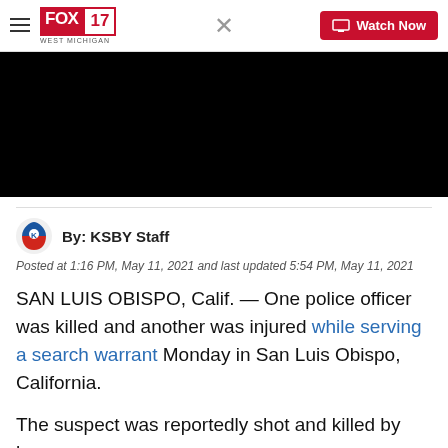FOX 17 WEST MICHIGAN | X | Watch Now
[Figure (screenshot): Black video player area]
By: KSBY Staff
Posted at 1:16 PM, May 11, 2021 and last updated 5:54 PM, May 11, 2021
SAN LUIS OBISPO, Calif. — One police officer was killed and another was injured while serving a search warrant Monday in San Luis Obispo, California.
The suspect was reportedly shot and killed by law